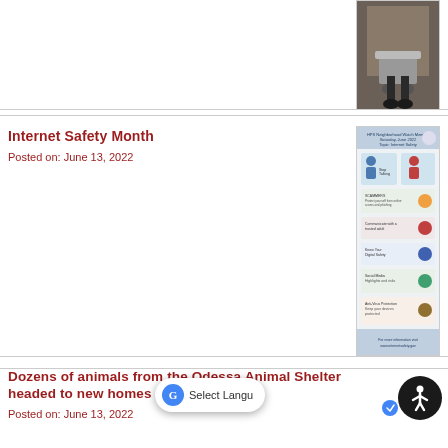[Figure (photo): Partial top photo of person with shopping cart, cut off at top of page]
Internet Safety Month
Posted on: June 13, 2022
[Figure (infographic): Internet Safety Month informational flyer/poster with text and icons]
Dozens of animals from the Odessa Animal Shelter headed to new homes
Posted on: June 13, 2022
[Figure (photo): Child holding a sign that reads text about animals]
20 years with OPD - Deputy Chief Matt Davidson
Posted on: June 10, 2022
[Figure (photo): Partial photo cut off by Select Language overlay]